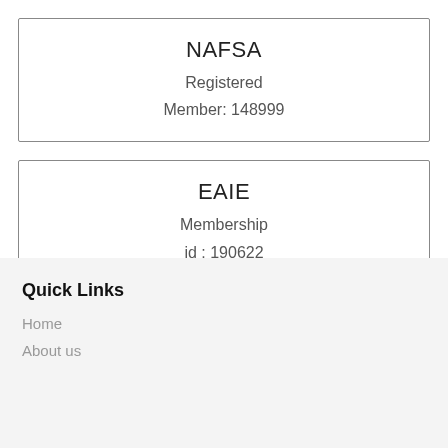NAFSA
Registered
Member: 148999
EAIE
Membership
id : 190622
Quick Links
Home
About us